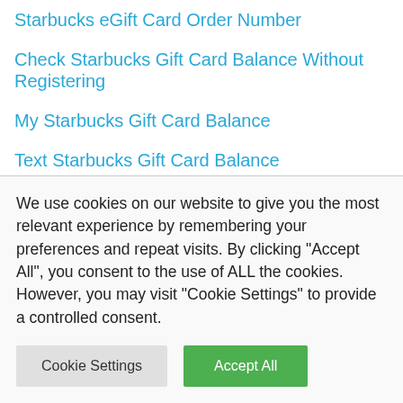Starbucks eGift Card Order Number
Check Starbucks Gift Card Balance Without Registering
My Starbucks Gift Card Balance
Text Starbucks Gift Card Balance
Buy My Starbucks Gift Card
Starbucks Gift Card Deals 2020
Starbucks $50 Value eGift Card (Email Delivery)
How To Buy Starbucks Gift Cards
Starbucks Gift Card Deals
Starbucks Gift Card Balance Checker Online
We use cookies on our website to give you the most relevant experience by remembering your preferences and repeat visits. By clicking "Accept All", you consent to the use of ALL the cookies. However, you may visit "Cookie Settings" to provide a controlled consent.
Cookie Settings | Accept All